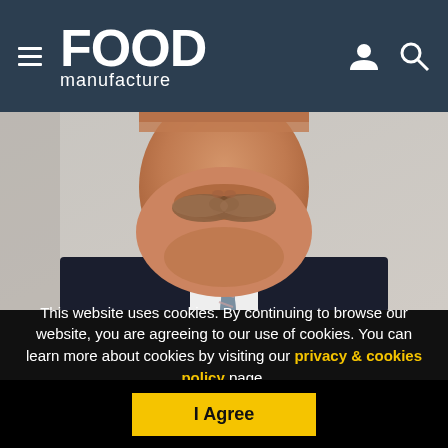FOOD manufacture
[Figure (photo): Close-up portrait of a middle-aged man with a mustache wearing a dark suit, white shirt, and striped tie against a light background.]
This website uses cookies. By continuing to browse our website, you are agreeing to our use of cookies. You can learn more about cookies by visiting our privacy & cookies policy page.
I Agree